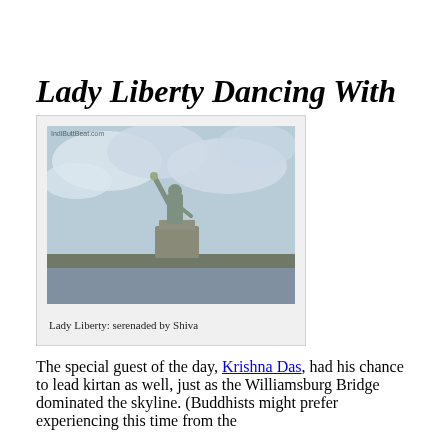Lady Liberty Dancing With Shiva
[Figure (photo): Photograph of the Statue of Liberty against a cloudy sky, viewed from the water. A small watermark reads 'IndiButtBeat.com' in the top-left corner.]
Lady Liberty: serenaded by Shiva
The special guest of the day, Krishna Das, had his chance to lead kirtan as well, just as the Williamsburg Bridge dominated the skyline. (Buddhists might prefer experiencing this time from the